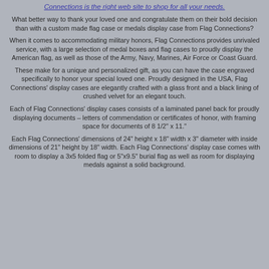Connections is the right web site to shop for all your needs.
What better way to thank your loved one and congratulate them on their bold decision than with a custom made flag case or medals display case from Flag Connections?
When it comes to accommodating military honors, Flag Connections provides unrivaled service, with a large selection of medal boxes and flag cases to proudly display the American flag, as well as those of the Army, Navy, Marines, Air Force or Coast Guard.
These make for a unique and personalized gift, as you can have the case engraved specifically to honor your special loved one. Proudly designed in the USA, Flag Connections' display cases are elegantly crafted with a glass front and a black lining of crushed velvet for an elegant touch.
Each of Flag Connections' display cases consists of a laminated panel back for proudly displaying documents – letters of commendation or certificates of honor, with framing space for documents of 8 1/2" x 11."
Each Flag Connections' dimensions of 24" height x 18" width x 3" diameter with inside dimensions of 21" height by 18" width. Each Flag Connections' display case comes with room to display a 3x5 folded flag or 5"x9.5" burial flag as well as room for displaying medals against a solid background.